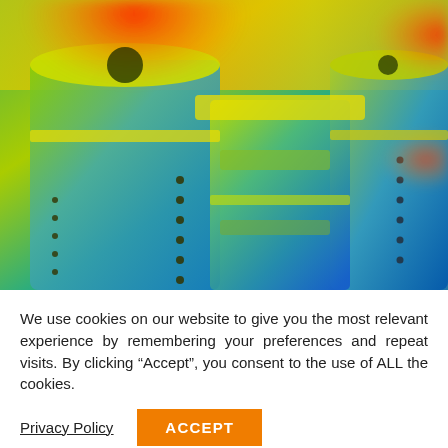[Figure (photo): Thermal (infrared false-color) image of industrial equipment — large cylindrical metal containers/turbines shown with heat-map coloring: blue/teal for cool areas, green/yellow for mid-temperature, orange/red for hot spots]
We use cookies on our website to give you the most relevant experience by remembering your preferences and repeat visits. By clicking “Accept”, you consent to the use of ALL the cookies.
Privacy Policy
ACCEPT